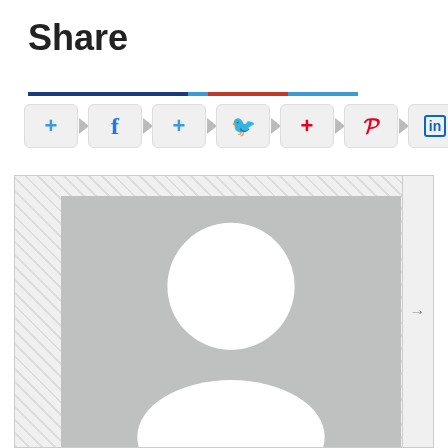Share
[Figure (infographic): Social media share buttons row: plus button, Facebook button, plus button, Twitter button, plus button, Pinterest button, LinkedIn button, arranged left to right with arrow connectors]
[Figure (photo): Default user profile placeholder image showing a gray background with a white circle (head) and white rounded shape (shoulders/body) suggesting a generic user avatar silhouette]